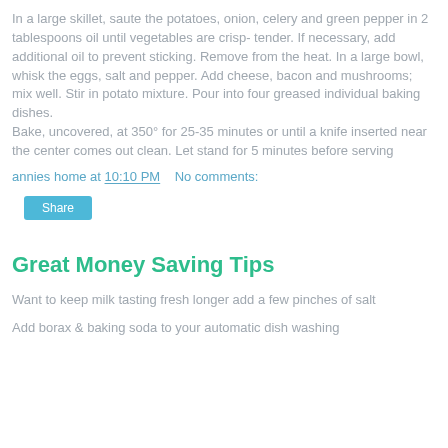In a large skillet, saute the potatoes, onion, celery and green pepper in 2 tablespoons oil until vegetables are crisp- tender. If necessary, add additional oil to prevent sticking. Remove from the heat. In a large bowl, whisk the eggs, salt and pepper. Add cheese, bacon and mushrooms; mix well. Stir in potato mixture. Pour into four greased individual baking dishes.
Bake, uncovered, at 350° for 25-35 minutes or until a knife inserted near the center comes out clean. Let stand for 5 minutes before serving
annies home at 10:10 PM   No comments:
Share
Great Money Saving Tips
Want to keep milk tasting fresh longer add a few pinches of salt
Add borax & baking soda to your automatic dish washing